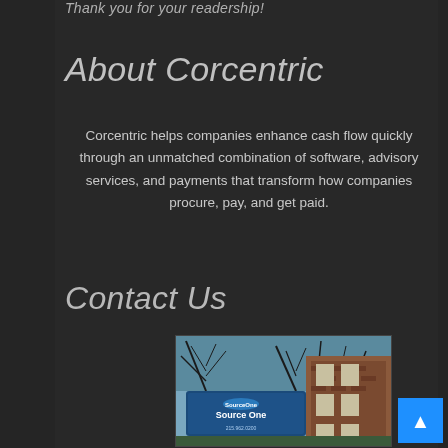Thank you for your readership!
About Corcentric
Corcentric helps companies enhance cash flow quickly through an unmatched combination of software, advisory services, and payments that transform how companies procure, pay, and get paid.
Contact Us
[Figure (photo): Photograph of a Source One building exterior with trees and blue sign reading 'Source One' and a phone number at the bottom]